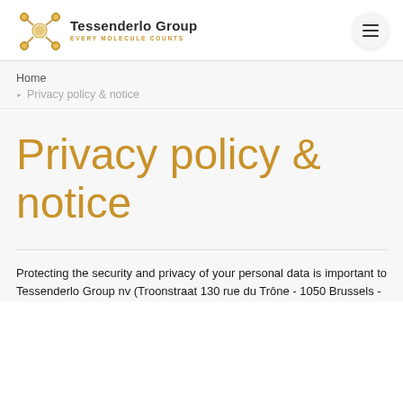[Figure (logo): Tessenderlo Group logo with molecular symbol and tagline EVERY MOLECULE COUNTS]
Home
Privacy policy & notice
Privacy policy & notice
Protecting the security and privacy of your personal data is important to Tessenderlo Group nv (Troonstraat 130 rue du Trône - 1050 Brussels -